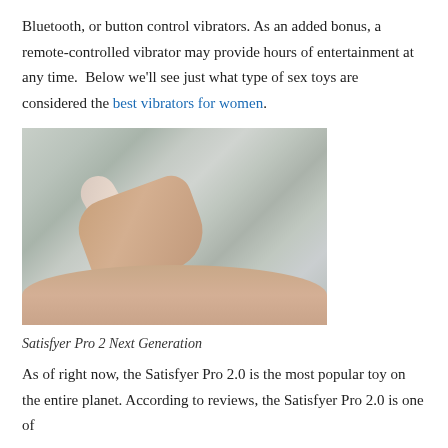Bluetooth, or button control vibrators. As an added bonus, a remote-controlled vibrator may provide hours of entertainment at any time.  Below we'll see just what type of sex toys are considered the best vibrators for women.
[Figure (photo): Overhead view of a person holding a vibrator device against their body while lying on grey/silver fabric bedding]
Satisfyer Pro 2 Next Generation
As of right now, the Satisfyer Pro 2.0 is the most popular toy on the entire planet. According to reviews, the Satisfyer Pro 2.0 is one of